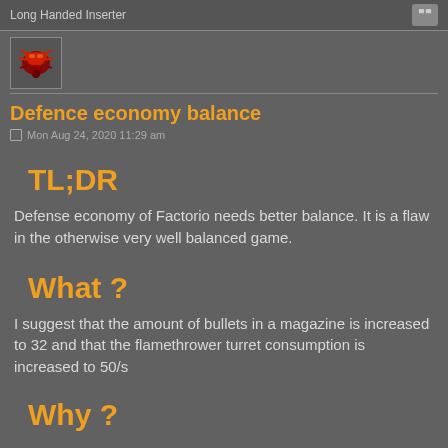Long Handed Inserter
Defence economy balance
Mon Aug 24, 2020 11:29 am
TL;DR
Defense economy of Factorio needs better balance. It is a flaw in the otherwise very well balanced game.
What ?
I suggest that the amount of bullets in a magazine is increased to 32 and that the flamethrower turret consumption is increased to 50/s
Why ?